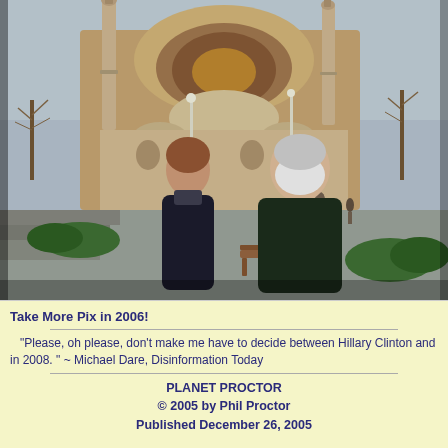[Figure (photo): Two people (a woman and a man with a white beard) posing outdoors in front of the Hagia Sophia in Istanbul. There are park benches, bushes, lampposts, trees, and other visitors visible in the background. The sky is overcast and gray.]
Take More Pix in 2006!
"Please, oh please, don't make me have to decide between Hillary Clinton and in 2008. " ~ Michael Dare, Disinformation Today
PLANET PROCTOR
© 2005 by Phil Proctor
Published December 26, 2005